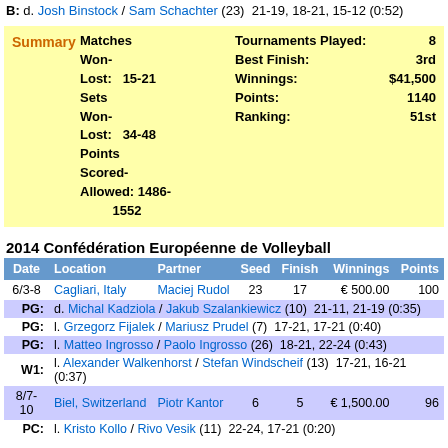B: d. Josh Binstock / Sam Schachter (23) 21-19, 18-21, 15-12 (0:52)
| Summary | Matches Won-Lost: |  | Sets Won-Lost: |  | Points Scored-Allowed: |  | Tournaments Played: | Best Finish: | Winnings: | Points: | Ranking: |
| --- | --- | --- | --- | --- | --- | --- | --- | --- | --- | --- | --- |
|  | 15-21 |  | 34-48 |  | 1486-1552 |  | 8 | 3rd | $41,500 | 1140 | 51st |
2014 Confédération Européenne de Volleyball
| Date | Location | Partner | Seed | Finish | Winnings | Points |
| --- | --- | --- | --- | --- | --- | --- |
| 6/3-8 | Cagliari, Italy | Maciej Rudol | 23 | 17 | € 500.00 | 100 |
| PG: | d. Michal Kadziola / Jakub Szalankiewicz (10) 21-11, 21-19 (0:35) |  |  |  |  |  |
| PG: | l. Grzegorz Fijalek / Mariusz Prudel (7) 17-21, 17-21 (0:40) |  |  |  |  |  |
| PG: | l. Matteo Ingrosso / Paolo Ingrosso (26) 18-21, 22-24 (0:43) |  |  |  |  |  |
| W1: | l. Alexander Walkenhorst / Stefan Windscheif (13) 17-21, 16-21 (0:37) |  |  |  |  |  |
| 8/7-10 | Biel, Switzerland | Piotr Kantor | 6 | 5 | € 1,500.00 | 96 |
| PC: | l. Kristo Kollo / Rivo Vesik (11) 22-24, 17-21 (0:20) |  |  |  |  |  |